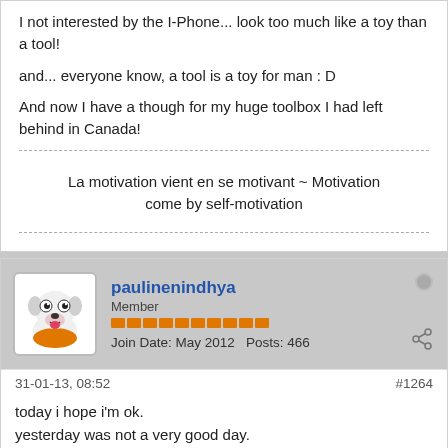I not interested by the I-Phone... look too much like a toy than a tool!
and... everyone know, a tool is a toy for man : D
And now I have a though for my huge toolbox I had left behind in Canada!
La motivation vient en se motivant ~ Motivation come by self-motivation
paulinenindhya
Member
Join Date: May 2012    Posts: 466
31-01-13, 08:52
#1264
today i hope i'm ok.
yesterday was not a very good day.
i'm in Bangkok now..
is there anyone can advice me, how to pass the ticket gate in sky train without being squash? i tried it twice, i think i'm not that slow... but shouldn't it has the sensor to keep open until you get passed... it hurts..